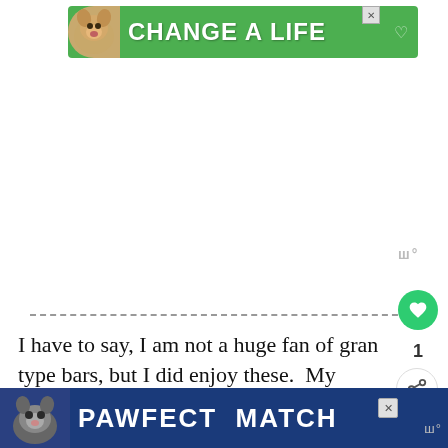[Figure (screenshot): Green advertisement banner with a dog photo and text 'CHANGE A LIFE' with a heart icon]
[Figure (screenshot): Floating action buttons on right side: green heart button, count '1', share button]
I have to say, I am not a huge fan of gran type bars, but I did enjoy these.  My nephew s... ...re
[Figure (screenshot): Blue bottom advertisement banner with cat image and text 'PAWFECT MATCH']